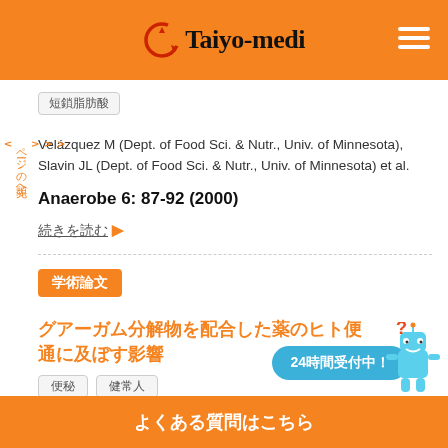[Figure (logo): Taiyo-medi logo with orange circular icon and hamburger menu]
短鎖脂肪酸
Velázquez M (Dept. of Food Sci. & Nutr., Univ. of Minnesota), Slavin JL (Dept. of Food Sci. & Nutr., Univ. of Minnesota) et al.
Anaerobe 6: 87-92 (2000)
続きを読む ▶
学術論文
グアーガム分解物を配合した薬のヒト便通に及ぼす影響
便秘　健常人
24時間受付中！
よくある質問はこちら